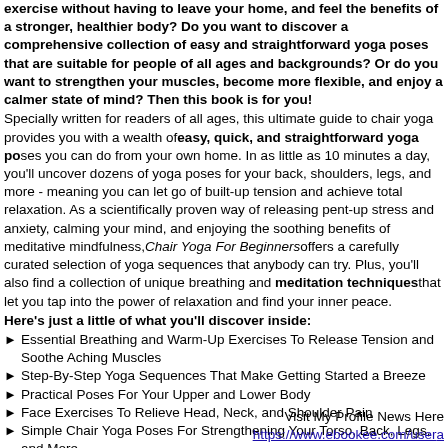exercise without having to leave your home, and feel the benefits of a stronger, healthier body? Do you want to discover a comprehensive collection of easy and straightforward yoga poses that are suitable for people of all ages and backgrounds? Or do you want to strengthen your muscles, become more flexible, and enjoy a calmer state of mind? Then this book is for you!
Specially written for readers of all ages, this ultimate guide to chair yoga provides you with a wealth of easy, quick, and straightforward yoga poses you can do from your own home. In as little as 10 minutes a day, you'll uncover dozens of yoga poses for your back, shoulders, legs, and more - meaning you can let go of built-up tension and achieve total relaxation. As a scientifically proven way of releasing pent-up stress and anxiety, calming your mind, and enjoying the soothing benefits of meditative mindfulness, Chair Yoga For Beginners offers a carefully curated selection of yoga sequences that anybody can try. Plus, you'll also find a collection of unique breathing and meditation techniques that let you tap into the power of relaxation and find your inner peace.
Here's just a little of what you'll discover inside:
Essential Breathing and Warm-Up Exercises To Release Tension and Soothe Aching Muscles
Step-By-Step Yoga Sequences That Make Getting Started a Breeze
Practical Poses For Your Upper and Lower Body
Face Exercises To Relieve Head, Neck, and Shoulder Pain
Simple Chair Yoga Poses For Strengthening Your Torso, Back, Legs, and More
A Selection of Standing Exercises To Try
Bonus Meditation Techniques For Cultivating Mindfulness and Inner Tranquility
And Much More...
So if you want to become more flexible, stay fit, and undo the harmful impacts of aging, Chair Yoga For Beginners provides you with tons of unique poses that will help you relieve pain and find balance without needing any expensive equipment or costly classes.
Are you ready to discover the wonders of chair yoga? Then scroll up and click "Add to Cart"!
Visit My Profile News Here
https://www.ebookee.com/user/